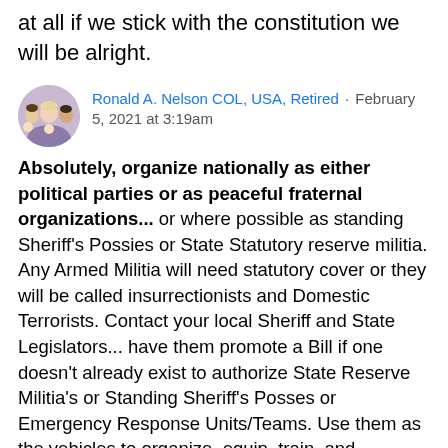at all if we stick with the constitution we will be alright.
[Figure (photo): Circular avatar photo of a family group — adults and young children posing together.]
Ronald A. Nelson COL, USA, Retired · February 5, 2021 at 3:19am
Absolutely, organize nationally as either political parties or as peaceful fraternal organizations... or where possible as standing Sheriff's Possies or State Statutory reserve militia.  Any Armed Militia will need statutory cover or they will be called insurrectionists and Domestic Terrorists. Contact your local Sheriff and State Legislators... have them promote a Bill if one doesn't already exist to authorize State Reserve Militia's or Standing Sheriff's Posses or Emergency Response Units/Teams.  Use them as the vehicles to organize, equip, train, and establish an interlinking system of local